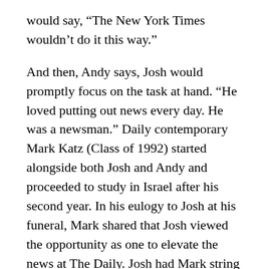would say, “The New York Times wouldn’t do it this way.”
And then, Andy says, Josh would promptly focus on the task at hand. “He loved putting out news every day. He was a newsman.” Daily contemporary Mark Katz (Class of 1992) started alongside both Josh and Andy and proceeded to study in Israel after his second year. In his eulogy to Josh at his funeral, Mark shared that Josh viewed the opportunity as one to elevate the news at The Daily. Josh had Mark string for The Daily from Israel. Mark would call in with his news pieces and dictate them into the phone.